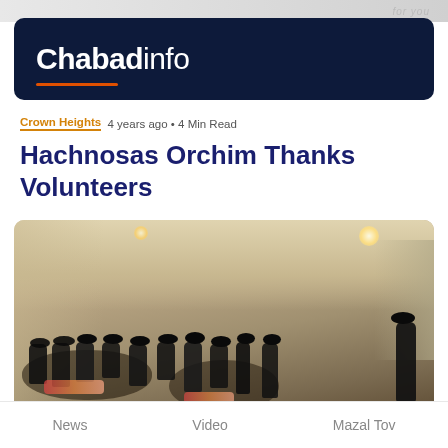for you
[Figure (logo): Chabadinfo logo on dark navy background with orange underline]
Crown Heights  4 years ago • 4 Min Read
Hachnosas Orchim Thanks Volunteers
[Figure (photo): A banquet hall filled with men in black hats and white shirts seated at round tables with food, a speaker standing at the right side of the room]
News    Video    Mazal Tov